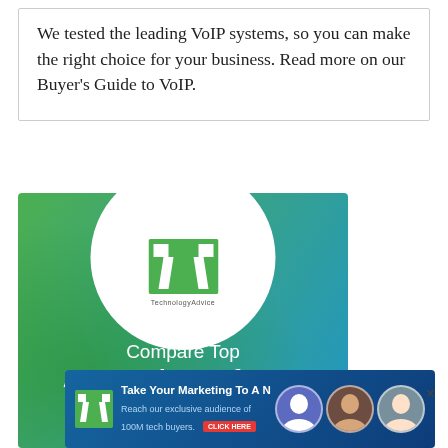We tested the leading VoIP systems, so you can make the right choice for your business. Read more on our Buyer's Guide to VoIP.
[Figure (illustration): TechnologyAdvice advertisement banner for Compare Top Accounting Software Vendors with a Compare Now button. Green to blue gradient background with white circle containing the TA logo.]
[Figure (illustration): TechnologyAdvice bottom banner ad: Take Your Marketing To A New Frontier. Reach our exclusive audience of 100M tech buyers. CTA button and three person portrait photos.]